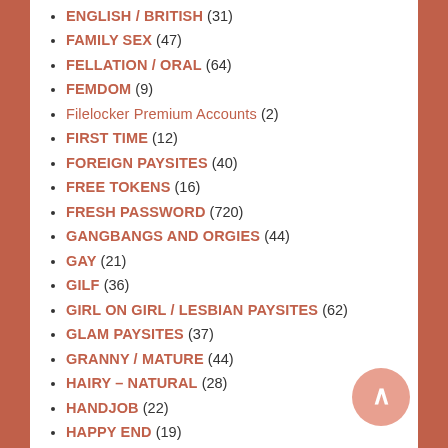ENGLISH / BRITISH (31)
FAMILY SEX (47)
FELLATION / ORAL (64)
FEMDOM (9)
Filelocker Premium Accounts (2)
FIRST TIME (12)
FOREIGN PAYSITES (40)
FREE TOKENS (16)
FRESH PASSWORD (720)
GANGBANGS AND ORGIES (44)
GAY (21)
GILF (36)
GIRL ON GIRL / LESBIAN PAYSITES (62)
GLAM PAYSITES (37)
GRANNY / MATURE (44)
HAIRY – NATURAL (28)
HANDJOB (22)
HAPPY END (19)